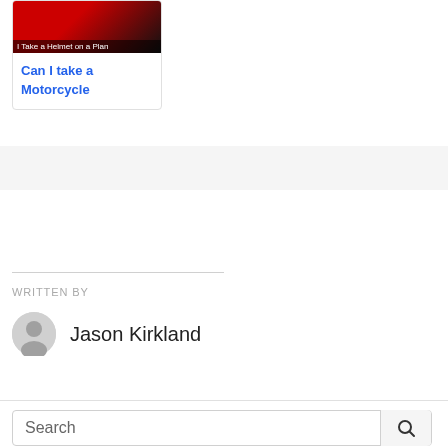[Figure (photo): Thumbnail image of a red motorcycle helmet on dark background with overlay text 'I Take a Helmet on a Plan']
Can I take a Motorcycle
WRITTEN BY
[Figure (illustration): Gray circular user avatar icon for Jason Kirkland]
Jason Kirkland
Search